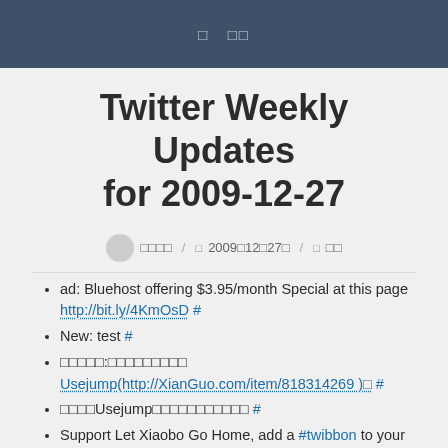□  □□
Twitter Weekly Updates for 2009-12-27
□□□□  /  □  2009□12□27□  /  □  □□
ad: Bluehost offering $3.95/month Special at this page http://bit.ly/4KmOsD #
New: test #
□□□□□:□□□□□□□□□ Usejump(http://XianGuo.com/item/818314269 )□ #
□□□□Usejump□□□□□□□□□□□ #
Support Let Xiaobo Go Home, add a #twibbon to your avatar now! – http://bit.ly/7wkUhE #